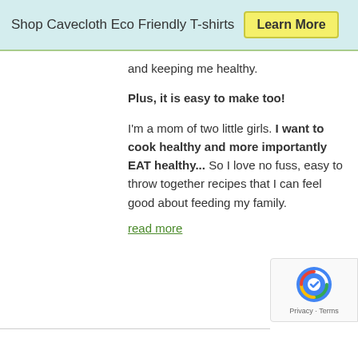Shop Cavecloth Eco Friendly T-shirts  Learn More
and keeping me healthy.
Plus, it is easy to make too!
I'm a mom of two little girls. I want to cook healthy and more importantly EAT healthy... So I love no fuss, easy to throw together recipes that I can feel good about feeding my family.
read more